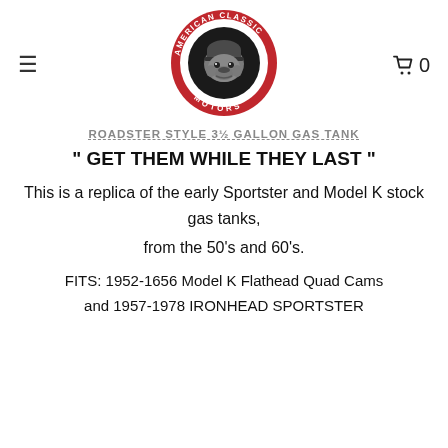[Figure (logo): American Classic Motors circular logo with a bulldog wearing a helmet in the center, red border with white text]
ROADSTER STYLE 3½ GALLON GAS TANK
" GET THEM WHILE THEY LAST "
This is a replica of the early Sportster and Model K stock gas tanks, from the 50's and 60's.
FITS: 1952-1656 Model K Flathead Quad Cams and 1957-1978 IRONHEAD SPORTSTER